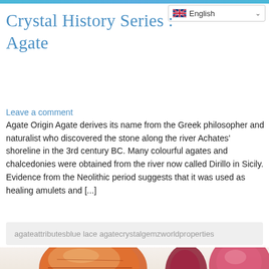English
Crystal History Series : Agate
Leave a comment
Agate Origin Agate derives its name from the Greek philosopher and naturalist who discovered the stone along the river Achates' shoreline in the 3rd century BC. Many colourful agates and chalcedonies were obtained from the river now called Dirillo in Sicily. Evidence from the Neolithic period suggests that it was used as healing amulets and [...]
agateattributesblue lace agatecrystalgemzworldproperties
[Figure (photo): Three faceted gemstones on a light background: a large orange-red oval cut gem on the left, a smaller dark red pear/teardrop cut gem in the center, and a pink-red round brilliant cut gem on the right.]